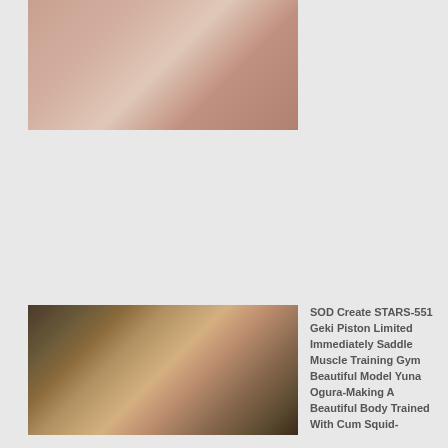[Figure (photo): Top product image showing DVD cover, partially visible]
[Figure (photo): DVD cover for SOD Create STARS-551 showing Japanese text and fitness model]
SOD Create STARS-551 Geki Piston Limited Immediately Saddle Muscle Training Gym Beautiful Model Yuna Ogura-Making A Beautiful Body Trained With Cum Squid-